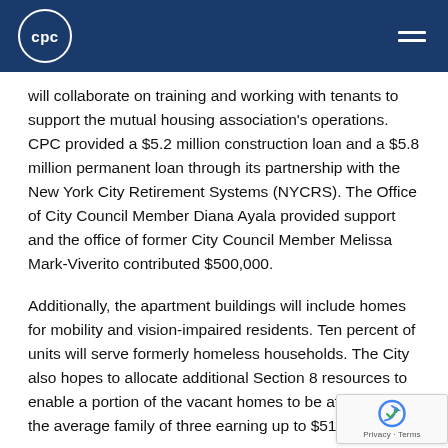cpc
will collaborate on training and working with tenants to support the mutual housing association's operations. CPC provided a $5.2 million construction loan and a $5.8 million permanent loan through its partnership with the New York City Retirement Systems (NYCRS). The Office of City Council Member Diana Ayala provided support and the office of former City Council Member Melissa Mark-Viverito contributed $500,000.
Additionally, the apartment buildings will include homes for mobility and vision-impaired residents. Ten percent of units will serve formerly homeless households. The City also hopes to allocate additional Section 8 resources to enable a portion of the vacant homes to be affordable to the average family of three earning up to $51,000.